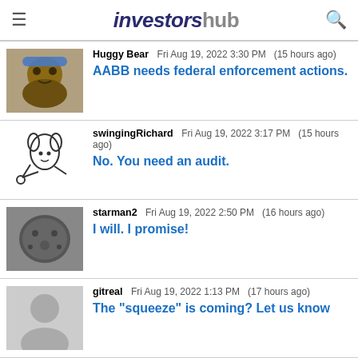iNVESTORSHUB
Huggy Bear Fri Aug 19, 2022 3:30 PM (15 hours ago) AABB needs federal enforcement actions.
swingingRichard Fri Aug 19, 2022 3:17 PM (15 hours ago) No. You need an audit.
starman2 Fri Aug 19, 2022 2:50 PM (16 hours ago) I will. I promise!
gitreal Fri Aug 19, 2022 1:13 PM (17 hours ago) The "squeeze" is coming? Let us know
starman2 Fri Aug 19, 2022 1:04 PM (17 hours ago) This is what he said back in June.. http://stock
starman2 Fri Aug 19, 2022 12:52 PM (18 hours ago) Exactly!